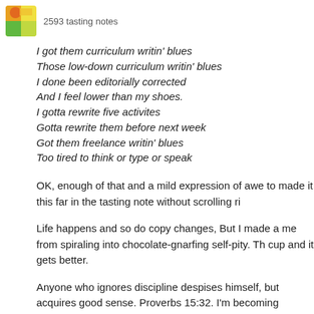2593 tasting notes
I got them curriculum writin' blues
Those low-down curriculum writin' blues
I done been editorially corrected
And I feel lower than my shoes.
I gotta rewrite five activites
Gotta rewrite them before next week
Got them freelance writin' blues
Too tired to think or type or speak
OK, enough of that and a mild expression of awe to anyone who made it this far in the tasting note without scrolling ri
Life happens and so do copy changes, But I made a me from spiraling into chocolate-gnarfing self-pity. Th cup and it gets better.
Anyone who ignores discipline despises himself, but acquires good sense. Proverbs 15:32. I'm becoming